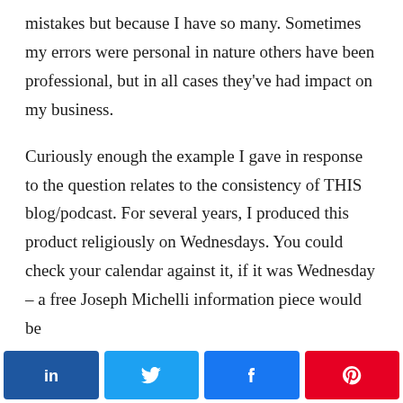mistakes but because I have so many. Sometimes my errors were personal in nature others have been professional, but in all cases they've had impact on my business.
Curiously enough the example I gave in response to the question relates to the consistency of THIS blog/podcast. For several years, I produced this product religiously on Wednesdays. You could check your calendar against it, if it was Wednesday – a free Joseph Michelli information piece would be available. That's not to say that the production was
[Figure (other): Social media share buttons: LinkedIn (blue), Twitter (light blue), Facebook (blue), Pinterest (red), each with respective icons]